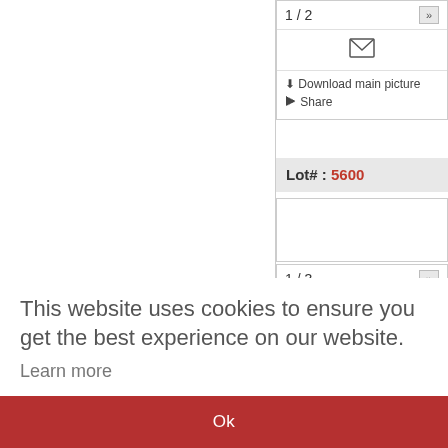1 / 2
[Figure (other): Envelope/mail icon]
Download main picture
Share
Lot# : 5600
1 / 3
[Figure (other): Envelope/mail icon]
Download main picture
Share
This website uses cookies to ensure you get the best experience on our website.
Learn more
Ok